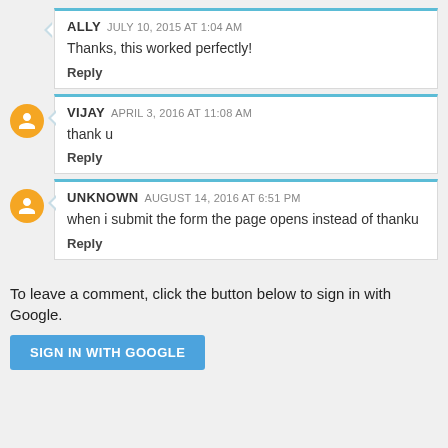ALLY JULY 10, 2015 AT 1:04 AM
Thanks, this worked perfectly!
Reply
VIJAY APRIL 3, 2016 AT 11:08 AM
thank u
Reply
UNKNOWN AUGUST 14, 2016 AT 6:51 PM
when i submit the form the page opens instead of thanku
Reply
To leave a comment, click the button below to sign in with Google.
SIGN IN WITH GOOGLE